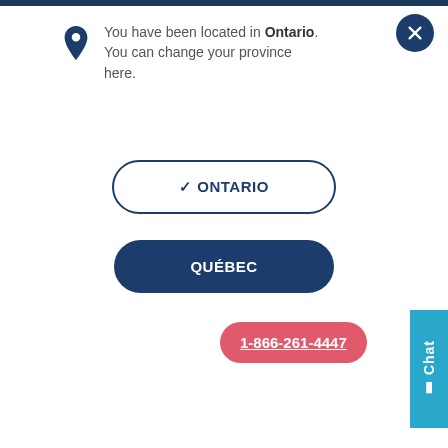You have been located in Ontario. You can change your province here.
✓ ONTARIO
QUÉBEC
[Figure (logo): Cogeco company logo with stylized C icon and cogeco wordmark in dark blue]
1-866-261-4447
Chat
[Figure (photo): Partial product/device photo with blurred/cropped view]
Manage your services easily